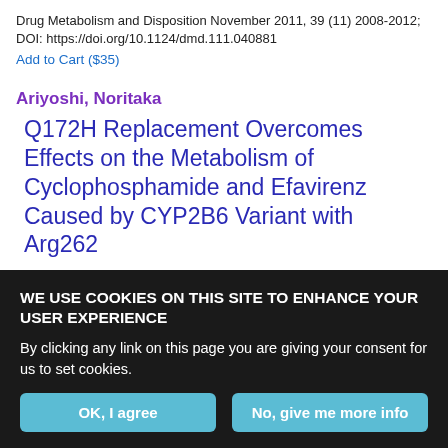Drug Metabolism and Disposition November 2011, 39 (11) 2008-2012; DOI: https://doi.org/10.1124/dmd.111.040881
Add to Cart ($35)
Ariyoshi, Noritaka
Q172H Replacement Overcomes Effects on the Metabolism of Cyclophosphamide and Efavirenz Caused by CYP2B6 Variant with Arg262
Noritaka Ariyoshi, Miyuki Ohara, Mayumi Kaneko, Sakino Afuso, Takuya Kumamoto, Hiroyoshi Nakamura, Itsuko Ishii, Tsutomu
WE USE COOKIES ON THIS SITE TO ENHANCE YOUR USER EXPERIENCE
By clicking any link on this page you are giving your consent for us to set cookies.
OK, I agree
No, give me more info